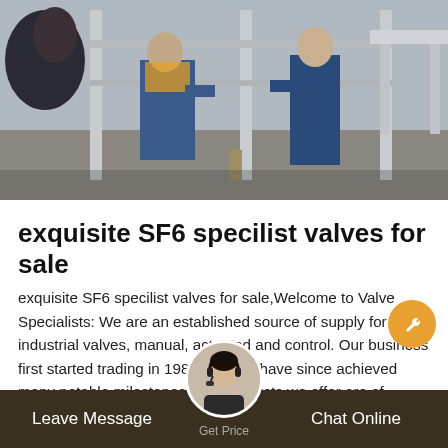[Figure (photo): Industrial workers in blue coveralls working around metal frame equipment outdoors]
exquisite SF6 specilist valves for sale
exquisite SF6 specilist valves for sale,Welcome to Valve Specialists: We are an established source of supply for industrial valves, manual, actuated and control. Our business first started trading in 1989, and we have since achieved many notable milestones. The products we offer are of superior quality; we match that with a world class service experience built on int and a
Leave Message   Get Price   Chat Online